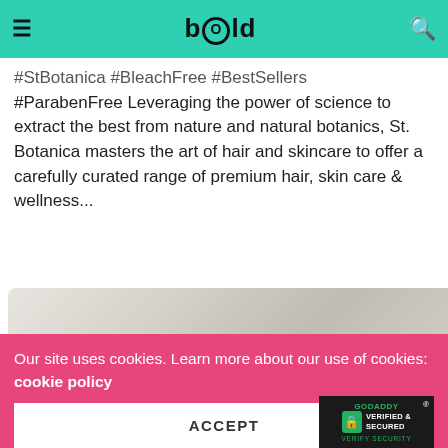BOLD (logo) — hamburger menu and search icon
#StBotanica #BleachFree #BestSellers #ParabenFree Leveraging the power of science to extract the best from nature and natural botanics, St. Botanica masters the art of hair and skincare to offer a carefully curated range of premium hair, skin care & wellness...
[Figure (photo): Blurred product or person image with soft neutral tones]
Our site uses cookies. Learn more about our use of cookies: cookie policy
ACCEPT
[Figure (logo): GoDaddy Verified & Secured badge with lock icon and green text on dark background]